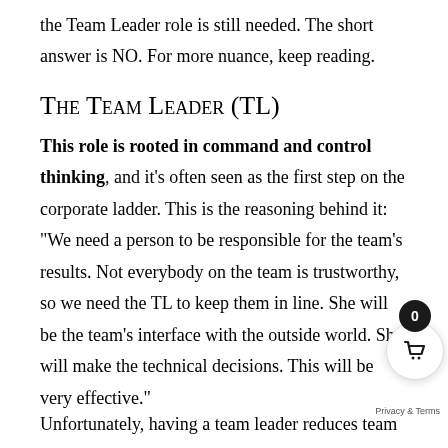the Team Leader role is still needed. The short answer is NO. For more nuance, keep reading.
The Team Leader (TL)
This role is rooted in command and control thinking, and it's often seen as the first step on the corporate ladder. This is the reasoning behind it: “We need a person to be responsible for the team’s results. Not everybody on the team is trustworthy, so we need the TL to keep them in line. She will be the team’s interface with the outside world. She will make the technical decisions. This will be very effective.”
Unfortunately, having a team leader reduces team